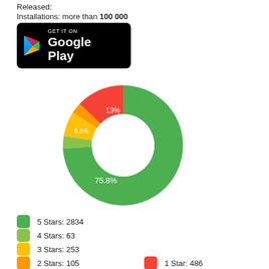Released:
Installations: more than 100 000
[Figure (other): Google Play badge - GET IT ON Google Play]
[Figure (donut-chart): App ratings distribution]
5 Stars: 2834
4 Stars: 63
3 Stars: 253
2 Stars: 105
1 Star: 486